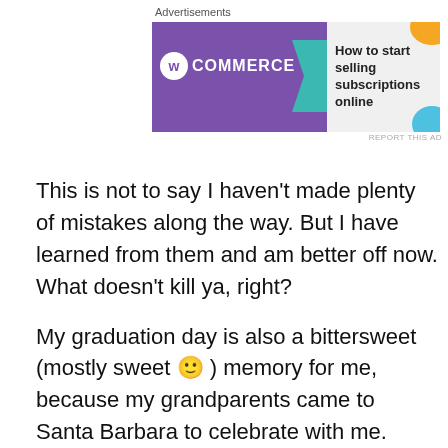Advertisements
[Figure (screenshot): WooCommerce advertisement banner: purple background on left with WooCommerce logo (woo in circle + COMMERCE text), teal arrow pointing right, right side shows 'How to start selling subscriptions online' with orange and blue decorative shapes]
This is not to say I haven't made plenty of mistakes along the way. But I have learned from them and am better off now. What doesn't kill ya, right?
My graduation day is also a bittersweet (mostly sweet 🙂 ) memory for me, because my grandparents came to Santa Barbara to celebrate with me.
[Figure (photo): Image placeholder with link text 'GrdmaPoppa' in blue hyperlink style]
It was my Papa's 84th birthday on my graduation day. I was so caught up in my own stuff that I didn't even remember to say happy birthday to him until after the ceremony was over and we were heading out. He passed